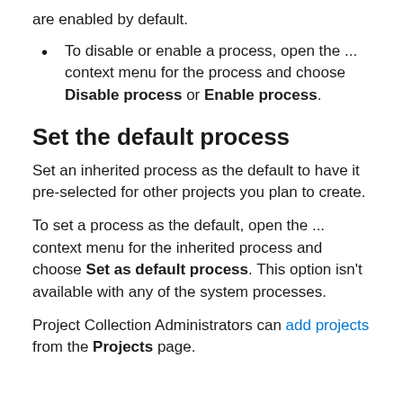are enabled by default.
To disable or enable a process, open the ... context menu for the process and choose Disable process or Enable process.
Set the default process
Set an inherited process as the default to have it pre-selected for other projects you plan to create.
To set a process as the default, open the ... context menu for the inherited process and choose Set as default process. This option isn't available with any of the system processes.
Project Collection Administrators can add projects from the Projects page.